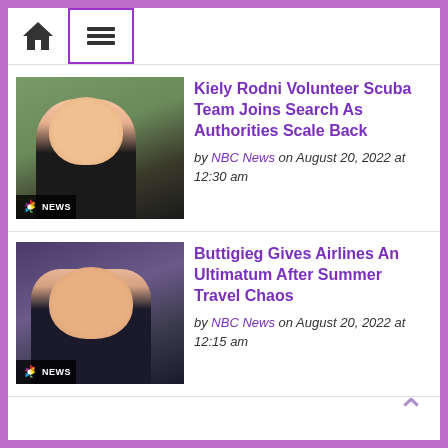Home | Menu
[Figure (photo): NBC News thumbnail of a young blonde woman outdoors]
Kiely Rodni Volunteer Scuba Team Joins Search As Authorities Scale Back
by NBC News on August 20, 2022 at 12:30 am
[Figure (photo): NBC News thumbnail of Pete Buttigieg in a suit against a purple background]
Buttigieg Gives Airlines An Ultimatum After Summer Travel Chaos
by NBC News on August 20, 2022 at 12:15 am